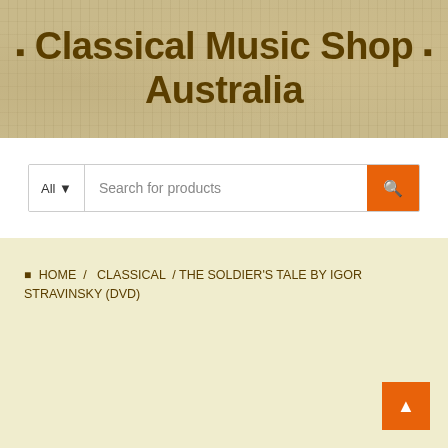Classical Music Shop Australia
Search for products
HOME / CLASSICAL / THE SOLDIER'S TALE by IGOR STRAVINSKY (DVD)